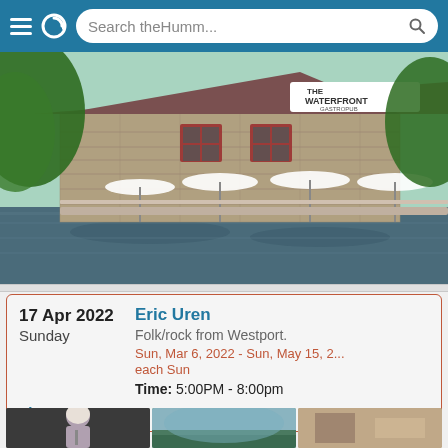Search theHumm...
[Figure (photo): Exterior photo of The Waterfront Gastropub — a stone building with red-trimmed windows, white patio umbrellas, and a waterfront deck reflected in the river. Trees frame the scene.]
17 Apr 2022
Sunday
Eric Uren
Folk/rock from Westport.
Sun, Mar 6, 2022 - Sun, May 15, 2...
each Sun
Time: 5:00PM - 8:00pm
The Cove Country Inn - Westport
[Figure (photo): Bottom photo strip showing three partial images: a performer with light hair at a microphone, an outdoor lakeside scene, and an indoor room.]